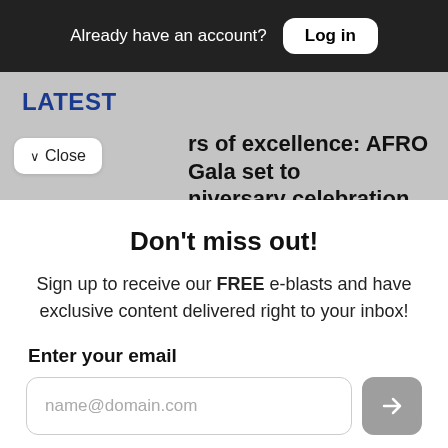Already have an account? Log in
LATEST
rs of excellence: AFRO Gala set to niversary celebration into high gear
Don't miss out!
Sign up to receive our FREE e-blasts and have exclusive content delivered right to your inbox!
Enter your email
name@domain.com
OR SIGN UP WITH